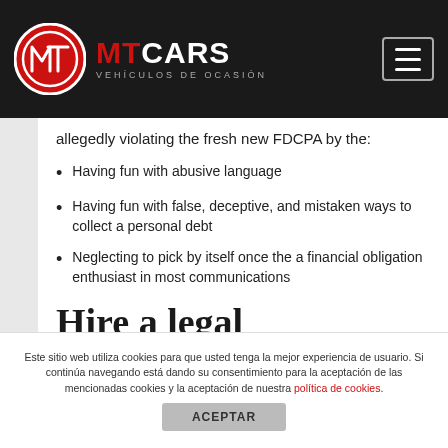MT CARS - VEHÍCULOS DE OCASIÓN
allegedly violating the fresh new FDCPA by the:
Having fun with abusive language
Having fun with false, deceptive, and mistaken ways to collect a personal debt
Neglecting to pick by itself once the a financial obligation enthusiast in most communications
Hire a legal professional
Este sitio web utiliza cookies para que usted tenga la mejor experiencia de usuario. Si continúa navegando está dando su consentimiento para la aceptación de las mencionadas cookies y la aceptación de nuestra política de cookies.